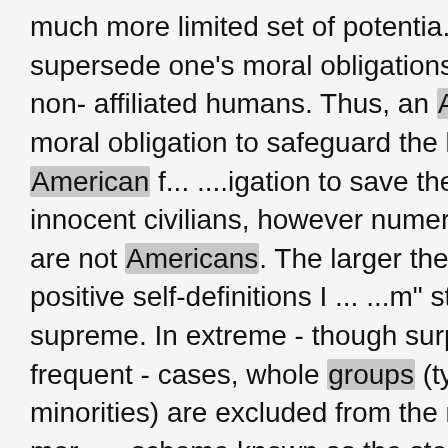much more limited set of potentia... ...de and supersede one's moral obligations towards non- affiliated humans. Thus, an American's moral obligation to safeguard the lives of American f... ....igation to save the lives of innocent civilians, however numerous, if they are not Americans. The larger the number of positive self-definitions I ... ...m" still reign supreme. In extreme - though surprisingly frequent - cases, whole groups (typically minorities) are excluded from the nation's mor... ...scheme known as the stock exchange, this expectation is proportional to liquidity - new suckers - and volatility. Thus, the price of any